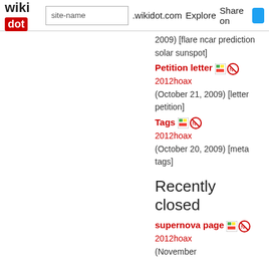wikidot | site-name .wikidot.com | Explore | Share on Twitter
2009) [flare ncar prediction solar sunspot]
Petition letter 2012hoax (October 21, 2009) [letter petition]
Tags 2012hoax (October 20, 2009) [meta tags]
Recently closed
supernova page 2012hoax (November